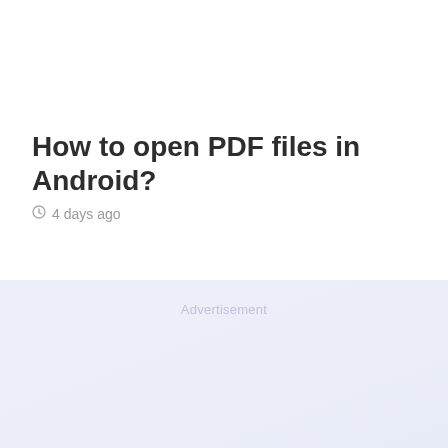How to open PDF files in Android?
4 days ago
Advertisement